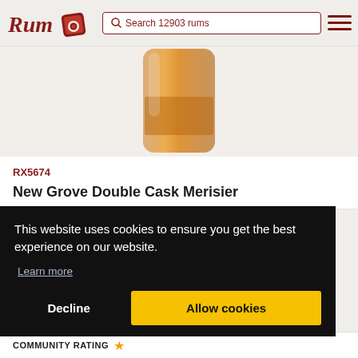Rum — Search 12903 rums
[Figure (photo): Partial view of a rum bottle with amber liquid, shown from the top portion/neck down]
RX5674
New Grove Double Cask Merisier
This website uses cookies to ensure you get the best experience on our website.
Learn more
Decline
Allow cookies
COMMUNITY RATING ⭐